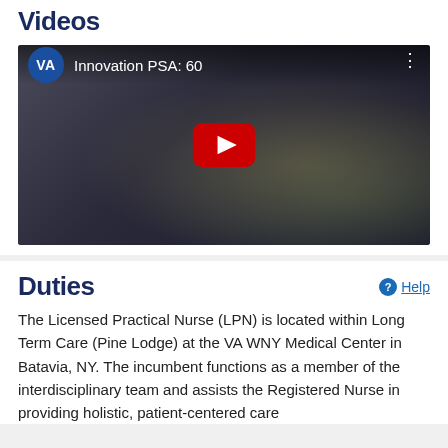Videos
[Figure (screenshot): YouTube video thumbnail showing a woman and a medical professional with VA logo and title 'Innovation PSA: 60' and a red play button in the center]
Duties
The Licensed Practical Nurse (LPN) is located within Long Term Care (Pine Lodge) at the VA WNY Medical Center in Batavia, NY. The incumbent functions as a member of the interdisciplinary team and assists the Registered Nurse in providing holistic, patient-centered care